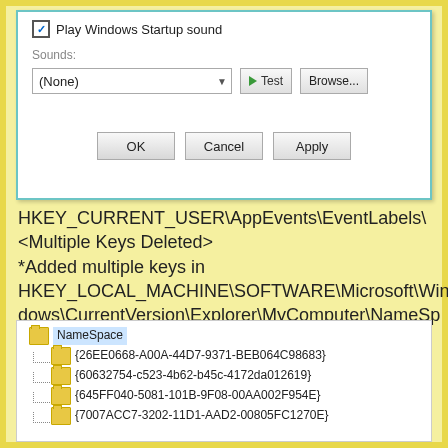[Figure (screenshot): Windows Sound settings dialog showing 'Play Windows Startup sound' checkbox (checked), a Sounds dropdown set to (None), Test and Browse buttons, and OK/Cancel/Apply buttons at bottom.]
HKEY_CURRENT_USER\AppEvents\EventLabels\
<Multiple Keys Deleted>
*Added multiple keys in HKEY_LOCAL_MACHINE\SOFTWARE\Microsoft\Windows\CurrentVersion\Explorer\MyComputer\NameSpace
to add shortcuts to system places in my computer (Some of these were already there, other keys I created):
[Figure (screenshot): Windows Registry Editor tree showing NameSpace key selected with child keys: {26EE0668-A00A-44D7-9371-BEB064C98683}, {60632754-c523-4b62-b45c-4172da012619}, {645FF040-5081-101B-9F08-00AA002F954E}, {7007ACC7-3202-11D1-AAD2-00805FC1270E}]